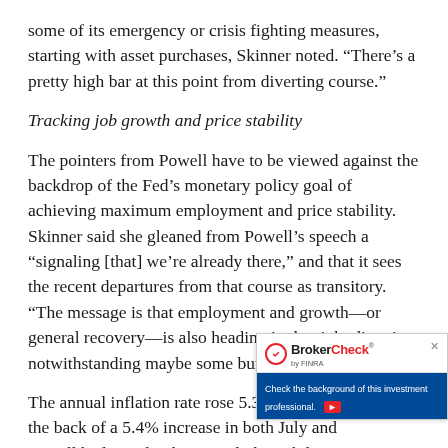some of its emergency or crisis fighting measures, starting with asset purchases, Skinner noted. “There’s a pretty high bar at this point from diverting course.”
Tracking job growth and price stability
The pointers from Powell have to be viewed against the backdrop of the Fed’s monetary policy goal of achieving maximum employment and price stability. Skinner said she gleaned from Powell’s speech a “signaling [that] we’re already there,” and that it sees the recent departures from that course as transitory. “The message is that employment and growth—or general recovery—is also heading in the right direction, notwithstanding maybe some bumps along the way.”
The annual inflation rate rose 5.3% in August 2021, on the back of a 5.4% increase in both July and Powell had noted in his speech that while “c
[Figure (other): BrokerCheck by FINRA advertisement overlay with logo and blue banner reading 'Check the background of this investment professional.']